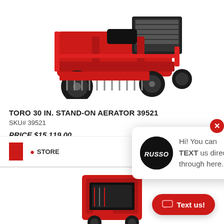[Figure (photo): Red Toro 30 In. Stand-On Aerator product photo on white background, top portion visible]
TORO 30 IN. STAND-ON AERATOR 39521
SKU# 39521
PRICE $15,119.00
STORE
[Figure (photo): Second product photo partially visible at bottom, red Toro equipment]
Hi! You can TEXT us directly through here.
Text us!